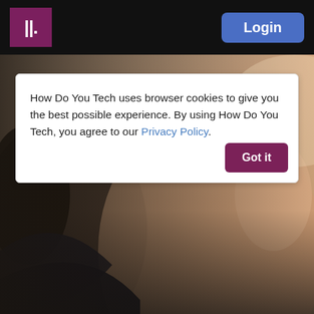IIL  Login
[Figure (photo): Website screenshot showing a navigation bar with a purple logo and blue Login button on a black background, a cookie consent banner with text and a Got it button, and a background photo of a person.]
How Do You Tech uses browser cookies to give you the best possible experience. By using How Do You Tech, you agree to our Privacy Policy.
Got it